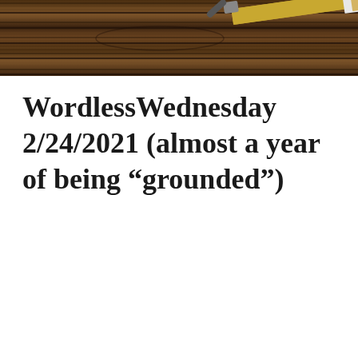[Figure (photo): Close-up photo of a dark wood grain surface (dark brown/black striped wood), with what appears to be a pencil or pen resting diagonally in the upper right corner.]
WordlessWednesday 2/24/2021 (almost a year of being “grounded”)